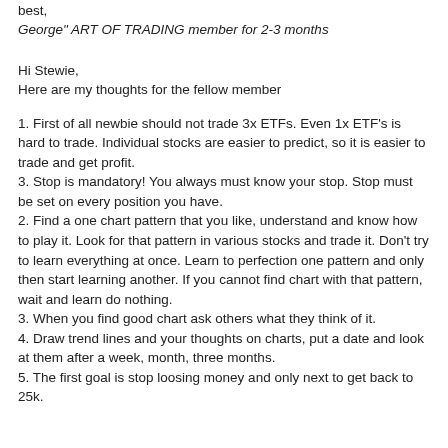best,
George" ART OF TRADING member for 2-3 months
Hi Stewie,
Here are my thoughts for the fellow member
1. First of all newbie should not trade 3x ETFs. Even 1x ETF's is hard to trade. Individual stocks are easier to predict, so it is easier to trade and get profit.
3. Stop is mandatory! You always must know your stop. Stop must be set on every position you have.
2. Find a one chart pattern that you like, understand and know how to play it. Look for that pattern in various stocks and trade it. Don't try to learn everything at once. Learn to perfection one pattern and only then start learning another. If you cannot find chart with that pattern, wait and learn do nothing.
3. When you find good chart ask others what they think of it.
4. Draw trend lines and your thoughts on charts, put a date and look at them after a week, month, three months.
5. The first goal is stop loosing money and only next to get back to 25k.